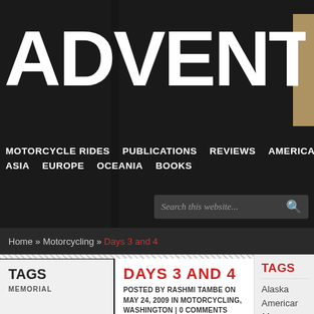ADVENTURES
MOTORCYCLE RIDES   PUBLICATIONS   REVIEWS   AMERICAS   ASIA   EUROPE   OCEANIA   BOOKS
Search this website...
Home » Motorcycling » Days 3 and 4
TAGS
MEMORIAL
DAYS 3 AND 4
POSTED BY RASHMI TAMBE ON MAY 24, 2009 IN MOTORCYCLING, WASHINGTON | 0 COMMENTS
TAGS
Alaska
American
M...